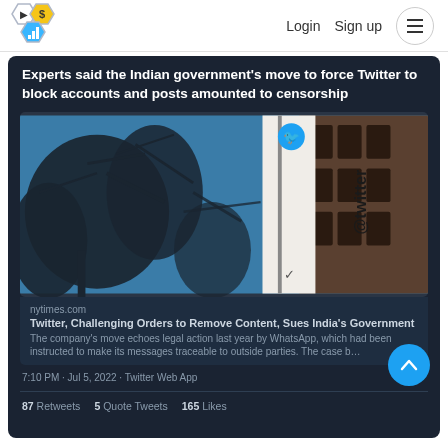Login  Sign up
Experts said the Indian government's move to force Twitter to block accounts and posts amounted to censorship
[Figure (photo): Photo of Twitter building exterior with @twitter signage and blue bird logo visible, with tree branches in foreground against blue sky]
nytimes.com
Twitter, Challenging Orders to Remove Content, Sues India's Government
The company's move echoes legal action last year by WhatsApp, which had been instructed to make its messages traceable to outside parties. The case b…
7:10 PM · Jul 5, 2022 · Twitter Web App
87 Retweets  5 Quote Tweets  165 Likes